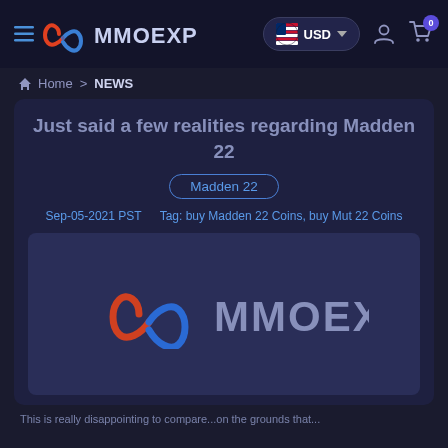MMOEXP - USD - Home > NEWS
Just said a few realities regarding Madden 22
Madden 22
Sep-05-2021 PST    Tag: buy Madden 22 Coins, buy Mut 22 Coins
[Figure (logo): MMOEXP logo on dark purple background - shows infinity/chain link icon in red-orange and blue, followed by MMOEXP text in light blue/gray]
This is really disappointing to compare...on the grounds that...